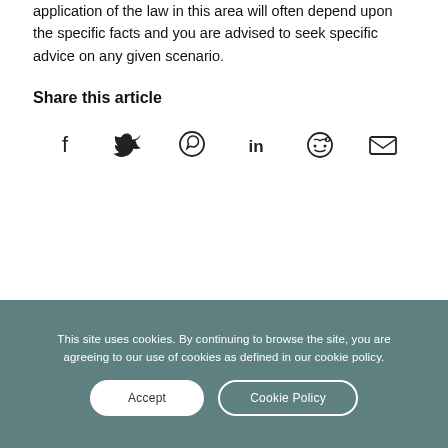application of the law in this area will often depend upon the specific facts and you are advised to seek specific advice on any given scenario.
Share this article
[Figure (infographic): Row of social media share icons: Facebook, Twitter, WhatsApp, LinkedIn, Reddit, Email]
This site uses cookies. By continuing to browse the site, you are agreeing to our use of cookies as defined in our cookie policy.
Accept   Cookie Policy